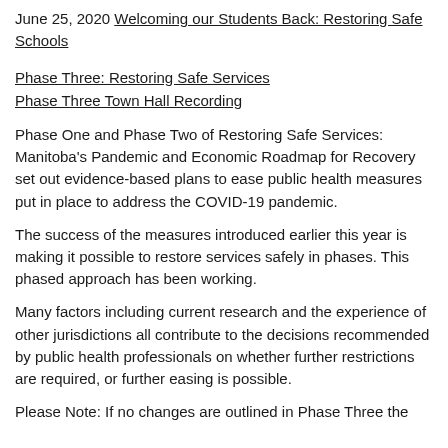June 25, 2020 Welcoming our Students Back: Restoring Safe Schools
Phase Three: Restoring Safe Services
Phase Three Town Hall Recording
Phase One and Phase Two of Restoring Safe Services: Manitoba’s Pandemic and Economic Roadmap for Recovery set out evidence-based plans to ease public health measures put in place to address the COVID-19 pandemic.
The success of the measures introduced earlier this year is making it possible to restore services safely in phases. This phased approach has been working.
Many factors including current research and the experience of other jurisdictions all contribute to the decisions recommended by public health professionals on whether further restrictions are required, or further easing is possible.
Please Note: If no changes are outlined in Phase Three the